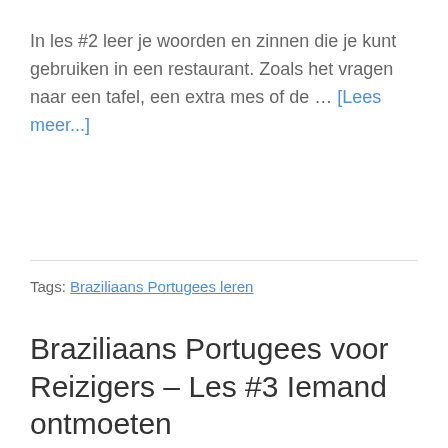In les #2 leer je woorden en zinnen die je kunt gebruiken in een restaurant. Zoals het vragen naar een tafel, een extra mes of de … [Lees meer...]
Tags: Braziliaans Portugees leren
Braziliaans Portugees voor Reizigers – Les #3 Iemand ontmoeten